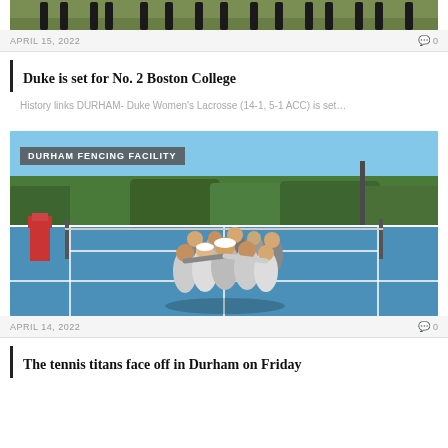[Figure (photo): Partial view of a sports team photo, cropped to show legs and lower body of players on a green field]
APRIL 15, 2022   💬0
Duke is set for No. 2 Boston College
History links DURHAM- Duke Women's Lacrosse (14-1, 5-1 ACC) is set…
[Figure (photo): Duke tennis team huddle on an outdoor blue tennis court, with trees in background. Overlay label reads DURHAM FENCING FACILITY]
APRIL 14, 2022   💬0
The tennis titans face off in Durham on Friday